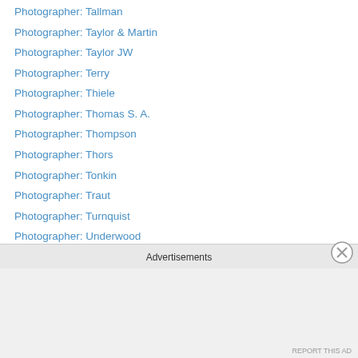Photographer: Tallman
Photographer: Taylor & Martin
Photographer: Taylor JW
Photographer: Terry
Photographer: Thiele
Photographer: Thomas S. A.
Photographer: Thompson
Photographer: Thors
Photographer: Tonkin
Photographer: Traut
Photographer: Turnquist
Photographer: Underwood
Photographer: Urlin
Photographer: Vail Brothers
Photographer: Van Der Weyde
Photographer: Vestine
Photographer: Vetter
Advertisements
REPORT THIS AD